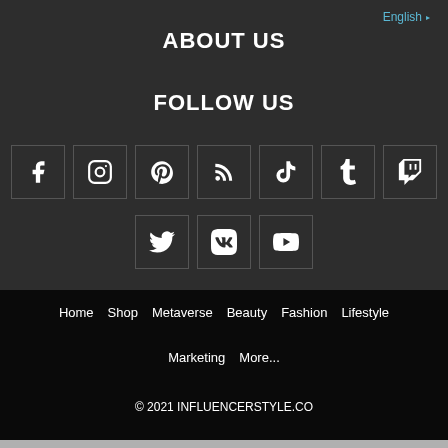English ▾
ABOUT US
FOLLOW US
[Figure (illustration): Row of social media icon buttons: Facebook, Instagram, Pinterest, RSS, TikTok, Tumblr, Twitch]
[Figure (illustration): Row of social media icon buttons: Twitter, VK, YouTube]
Home
Shop
Metaverse
Beauty
Fashion
Lifestyle
Marketing
More...
© 2021 INFLUENCERSTYLE.CO